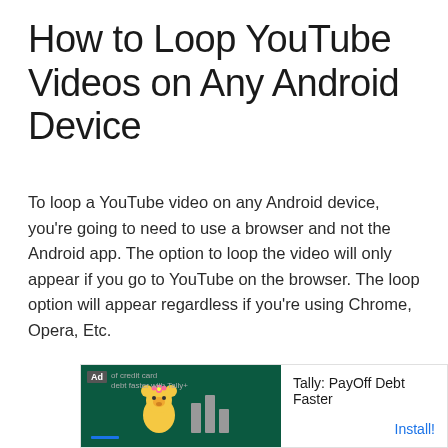How to Loop YouTube Videos on Any Android Device
To loop a YouTube video on any Android device, you're going to need to use a browser and not the Android app. The option to loop the video will only appear if you go to YouTube on the browser. The loop option will appear regardless if you're using Chrome, Opera, Etc.
[Figure (other): Advertisement banner for Tally: PayOff Debt Faster app with a dark green left panel featuring a mascot and bar chart logo, and white right panel with app name and Install button. An X close button appears above the banner.]